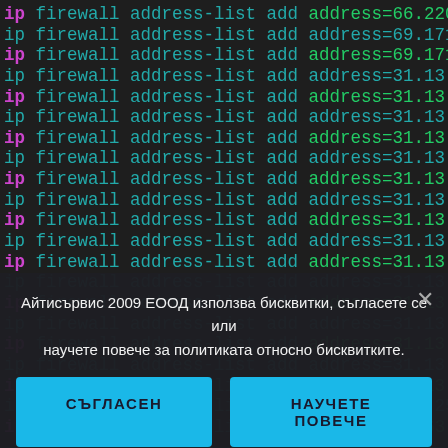ip firewall address-list add address=66.220.159
ip firewall address-list add address=69.171.239
ip firewall address-list add address=69.171.240
ip firewall address-list add address=31.13.64.0
ip firewall address-list add address=31.13.64.0
ip firewall address-list add address=31.13.65.0
ip firewall address-list add address=31.13.67.0
ip firewall address-list add address=31.13.68.0
ip firewall address-list add address=31.13.69.0
ip firewall address-list add address=31.13.70.0
ip firewall address-list add address=31.13.71.0
ip firewall address-list add address=31.13.72.0
ip firewall address-list add address=31.13.73.0
ip firewall address-list add address=31.13.74.0
ip firewall address-list add address=31.13.75.0
ip firewall address-list add address=31.13.76.0
ip firewall address-list add address=31.13.77.0
ip firewall address-list add address=31.13.96.0
ip firewall address-list add address=31.13.66.0
ip firewall address-list add address=173.252.96
ip firewall address-list add address=69.63.178
Айтисървис 2009 ЕООД използва бисквитки, съгласете се или научете повече за политиката относно бисквитките.
СЪГЛАСЕН
НАУЧЕТЕ ПОВЕЧЕ